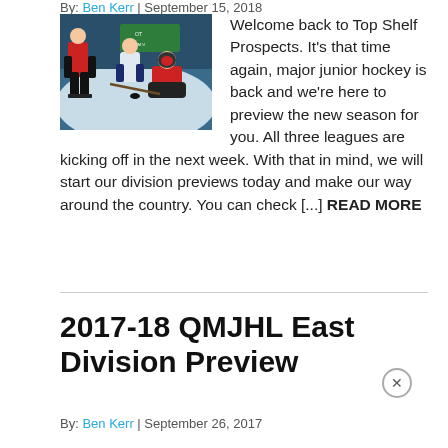By: Ben Kerr | September 15, 2018
[Figure (photo): Hockey players battling near the goal, one player in red uniform, others in white/dark uniforms, goalie crouching]
Welcome back to Top Shelf Prospects. It's that time again, major junior hockey is back and we're here to preview the new season for you. All three leagues are kicking off in the next week. With that in mind, we will start our division previews today and make our way around the country. You can check [...] READ MORE
2017-18 QMJHL East Division Preview
By: Ben Kerr | September 26, 2017